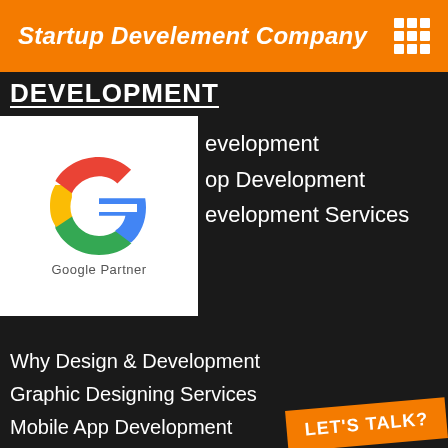Startup Develement Company
DEVELOPMENT
[Figure (logo): Google Partner badge with colorful G logo and 'Google Partner' text below]
evelopment
op Development
evelopment Services
Why Design & Development
Graphic Designing Services
Mobile App Development
Website Designing Company
eCommerce Website Development
Technology We Use
CMS Website Development
Wordpress Website Development C...
Software As A Service
LET'S TALK?